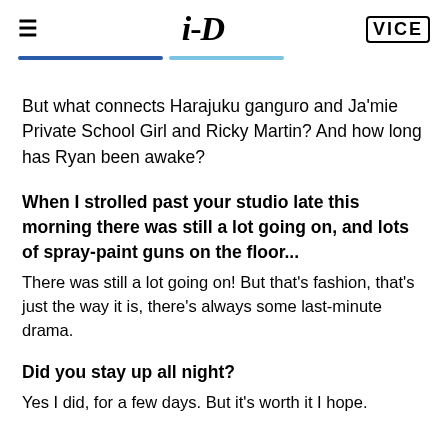i-D  VICE
But what connects Harajuku ganguro and Ja'mie Private School Girl and Ricky Martin? And how long has Ryan been awake?
When I strolled past your studio late this morning there was still a lot going on, and lots of spray-paint guns on the floor...
There was still a lot going on! But that's fashion, that's just the way it is, there's always some last-minute drama.
Did you stay up all night?
Yes I did, for a few days. But it's worth it I hope.